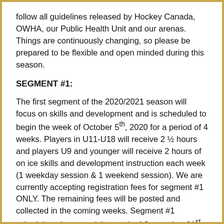follow all guidelines released by Hockey Canada, OWHA, our Public Health Unit and our arenas. Things are continuously changing, so please be prepared to be flexible and open minded during this season.
SEGMENT #1:
The first segment of the 2020/2021 season will focus on skills and development and is scheduled to begin the week of October 5th, 2020 for a period of 4 weeks. Players in U11-U18 will receive 2 ½ hours and players U9 and younger will receive 2 hours of on ice skills and development instruction each week (1 weekday session & 1 weekend session). We are currently accepting registration fees for segment #1 ONLY. The remaining fees will be posted and collected in the coming weeks. Segment #1 schedule to be posted the week of September 21st, 2020.